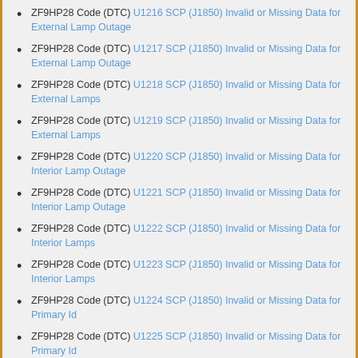ZF9HP28 Code (DTC) U1216 SCP (J1850) Invalid or Missing Data for External Lamp Outage
ZF9HP28 Code (DTC) U1217 SCP (J1850) Invalid or Missing Data for External Lamp Outage
ZF9HP28 Code (DTC) U1218 SCP (J1850) Invalid or Missing Data for External Lamps
ZF9HP28 Code (DTC) U1219 SCP (J1850) Invalid or Missing Data for External Lamps
ZF9HP28 Code (DTC) U1220 SCP (J1850) Invalid or Missing Data for Interior Lamp Outage
ZF9HP28 Code (DTC) U1221 SCP (J1850) Invalid or Missing Data for Interior Lamp Outage
ZF9HP28 Code (DTC) U1222 SCP (J1850) Invalid or Missing Data for Interior Lamps
ZF9HP28 Code (DTC) U1223 SCP (J1850) Invalid or Missing Data for Interior Lamps
ZF9HP28 Code (DTC) U1224 SCP (J1850) Invalid or Missing Data for Primary Id
ZF9HP28 Code (DTC) U1225 SCP (J1850) Invalid or Missing Data for Primary Id